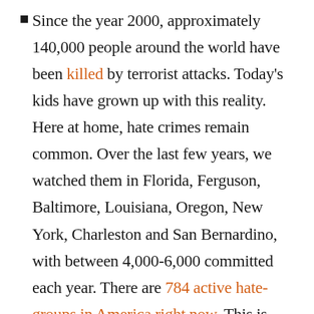Since the year 2000, approximately 140,000 people around the world have been killed by terrorist attacks. Today's kids have grown up with this reality. Here at home, hate crimes remain common. Over the last few years, we watched them in Florida, Ferguson, Baltimore, Louisiana, Oregon, New York, Charleston and San Bernardino, with between 4,000-6,000 committed each year. There are 784 active hate-groups in America right now. This is simply terrorism at home. We see evidence of our preoccupation with terrorism in movies like Iron Man and